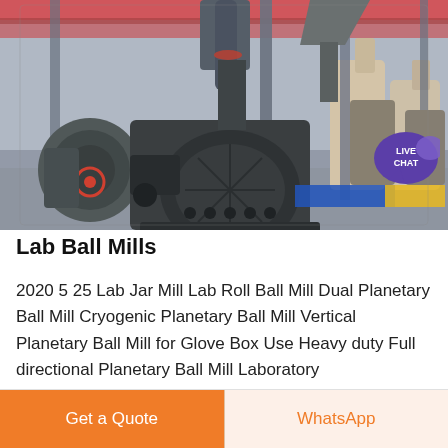[Figure (photo): Industrial ball mill machinery in a large warehouse/factory setting. Large grey industrial grinding mills and mechanical equipment visible on a polished concrete floor under a metal roof structure. A blue and yellow platform visible in the background.]
Lab Ball Mills
2020 5 25 Lab Jar Mill Lab Roll Ball Mill Dual Planetary Ball Mill Cryogenic Planetary Ball Mill Vertical Planetary Ball Mill for Glove Box Use Heavy duty Full directional Planetary Ball Mill Laboratory